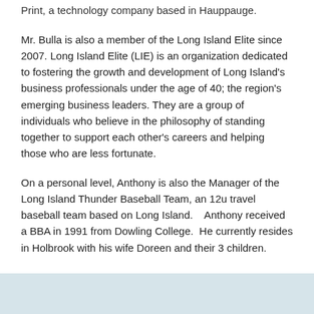Print, a technology company based in Hauppauge.
Mr. Bulla is also a member of the Long Island Elite since 2007. Long Island Elite (LIE) is an organization dedicated to fostering the growth and development of Long Island's business professionals under the age of 40; the region's emerging business leaders. They are a group of individuals who believe in the philosophy of standing together to support each other's careers and helping those who are less fortunate.
On a personal level, Anthony is also the Manager of the Long Island Thunder Baseball Team, an 12u travel baseball team based on Long Island.   Anthony received a BBA in 1991 from Dowling College.  He currently resides in Holbrook with his wife Doreen and their 3 children.